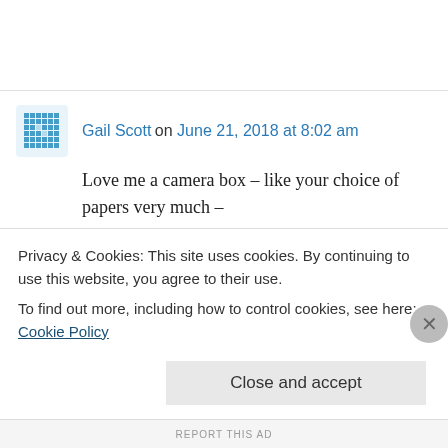Gail Scott on June 21, 2018 at 8:02 am
Love me a camera box – like your choice of papers very much –
↵ Reply
chilledmama on June 21, 2018 at 9:02 am
Privacy & Cookies: This site uses cookies. By continuing to use this website, you agree to their use. To find out more, including how to control cookies, see here: Cookie Policy
Close and accept